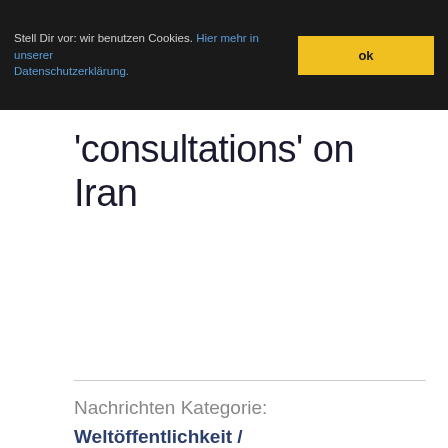Stell Dir vor: wir benutzen Cookies. Hier mehr in unserer Datenschutzerklärung. ok
'consultations' on Iran
Nachrichten Kategorie: Weltöffentlichkeit / World Public Opinion. Nachrichten Schlagwörter: Camp David, coups / attempts / regime changes / invasions (aggressions / interventions), experts / bureaucrats / advisers / technocrats / plutocrats / functionaries / cadres /